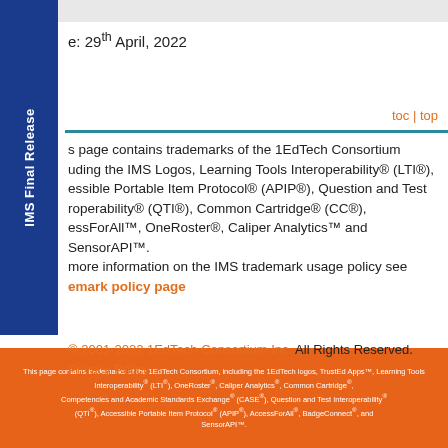e: 29th April, 2022
IMS Final Release
toc | top
s page contains trademarks of the 1EdTech Consortium including the IMS Logos, Learning Tools Interoperability® (LTI®), ccessible Portable Item Protocol® (APIP®), Question and Test Interoperability® (QTI®), Common Cartridge® (CC®), ccessForAll™, OneRoster®, Caliper Analytics™ and SensorAPI™. more information on the IMS trademark usage policy see trademark policy page
© 2001-2022 1EdTech Consortium Inc. All Rights Reserved. Privacy Policy
This page contains trademarks of the 1EdTech Consortium, including the 1EdTech logos, TrustEd Apps™, Learning Tools Interoperability® (LTI®), OneRoster®, Caliper Analytics®, Common Cartridge®, Competencies and Academic Standards Exchange® (CASE®), Question and Test Interoperability® (QTI®), Accessible Portable Item Protocol® (APIP®), AccessForAll®, BadgeConnect®, and SensorAPI™.